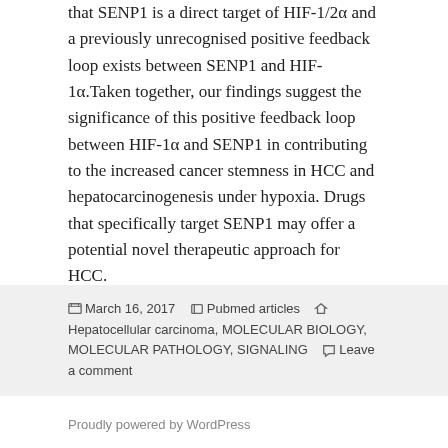that SENP1 is a direct target of HIF-1/2α and a previously unrecognised positive feedback loop exists between SENP1 and HIF-1α.Taken together, our findings suggest the significance of this positive feedback loop between HIF-1α and SENP1 in contributing to the increased cancer stemness in HCC and hepatocarcinogenesis under hypoxia. Drugs that specifically target SENP1 may offer a potential novel therapeutic approach for HCC.
Pubmed
Posted on March 16, 2017  Categories Pubmed articles  Tags Hepatocellular carcinoma, MOLECULAR BIOLOGY, MOLECULAR PATHOLOGY, SIGNALING  Leave a comment
Proudly powered by WordPress